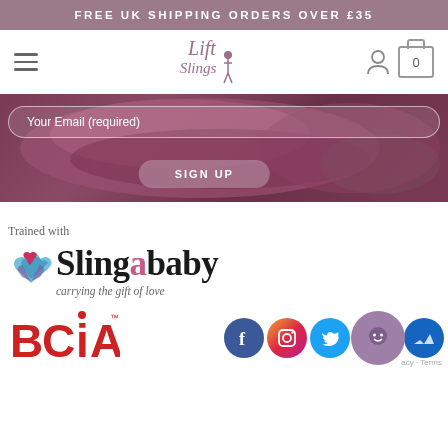FREE UK SHIPPING ORDERS OVER £35
[Figure (logo): Lift Slings logo with stylized text and figure carrying a child]
[Figure (screenshot): Email signup form with 'Your Email (required)' field and 'SIGN UP' button overlaid on a purple/mauve fabric background]
[Figure (logo): Trained with Slingababy logo - 'carrying the gift of love']
[Figure (logo): BCIA logo in red]
[Figure (logo): Social media icons: Facebook, Instagram, Twitter circles, and a chat widget]